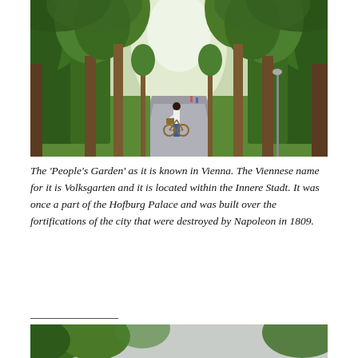[Figure (photo): A park pathway lined with tall green trees on both sides. A person with a bicycle is walking along the path which recedes into the distance. Lush green grass is visible on either side. The scene is the Volksgarten (People's Garden) in Vienna.]
The 'People's Garden' as it is known in Vienna. The Viennese name for it is Volksgarten and it is located within the Innere Stadt. It was once a part of the Hofburg Palace and was built over the fortifications of the city that were destroyed by Napoleon in 1809.
[Figure (photo): Partial view of another outdoor scene with green trees visible at the top, partially cut off at the bottom of the page.]